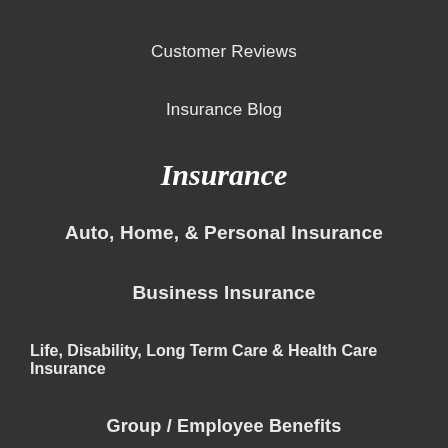Customer Reviews
Insurance Blog
Insurance
Auto, Home, & Personal Insurance
Business Insurance
Life, Disability, Long Term Care & Health Care Insurance
Group / Employee Benefits